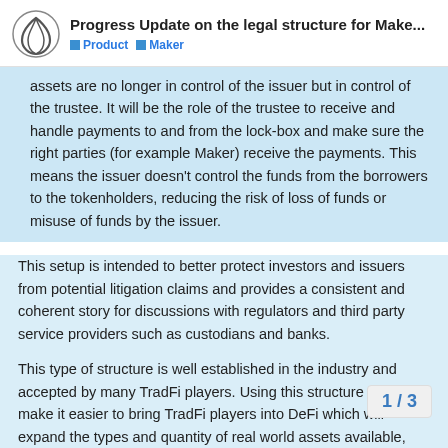Progress Update on the legal structure for Make... | Product | Maker
assets are no longer in control of the issuer but in control of the trustee. It will be the role of the trustee to receive and handle payments to and from the lock-box and make sure the right parties (for example Maker) receive the payments. This means the issuer doesn't control the funds from the borrowers to the tokenholders, reducing the risk of loss of funds or misuse of funds by the issuer.
This setup is intended to better protect investors and issuers from potential litigation claims and provides a consistent and coherent story for discussions with regulators and third party service providers such as custodians and banks.
This type of structure is well established in the industry and accepted by many TradFi players. Using this structure should make it easier to bring TradFi players into DeFi which will expand the types and quantity of real world assets available, which we think is a key step to reducing the volatility of DAI.
The schematic shared below (thanks to th
1 / 3